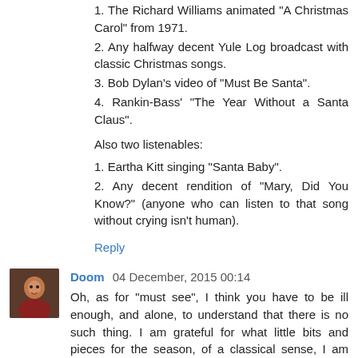1. The Richard Williams animated "A Christmas Carol" from 1971.
2. Any halfway decent Yule Log broadcast with classic Christmas songs.
3. Bob Dylan's video of "Must Be Santa".
4. Rankin-Bass' "The Year Without a Santa Claus".
Also two listenables:
1. Eartha Kitt singing "Santa Baby".
2. Any decent rendition of "Mary, Did You Know?" (anyone who can listen to that song without crying isn't human).
Reply
Doom 04 December, 2015 00:14
Oh, as for "must see", I think you have to be ill enough, and alone, to understand that there is no such thing. I am grateful for what little bits and pieces for the season, of a classical sense, I am able to procure or attend. I no long